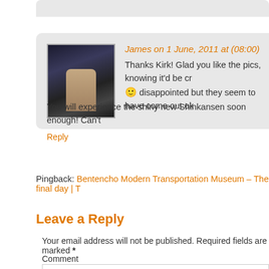James on 1 June, 2011 at (08:00)
Thanks Kirk! Glad you like the pics, knowing it'd be cr
🙂 disappointed but they seem to have come out ok
You will experience the shiny new Shinkansen soon enough! Can't
Reply
Pingback: Bentencho Modern Transportation Museum – The final day | T
Leave a Reply
Your email address will not be published. Required fields are marked *
Comment